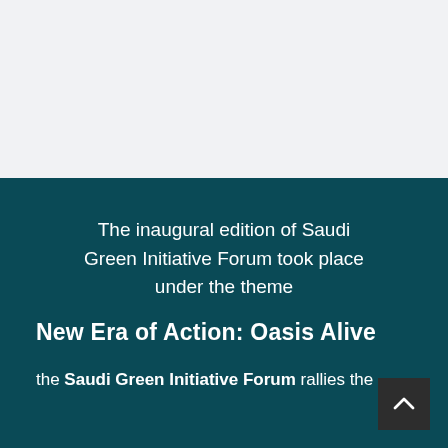[Figure (photo): Light grey blank/image area occupying the top portion of the page]
The inaugural edition of Saudi Green Initiative Forum took place under the theme
New Era of Action: Oasis Alive
the Saudi Green Initiative Forum rallies the